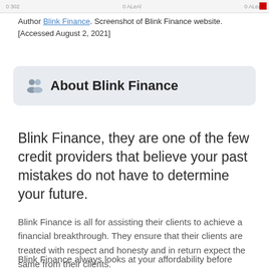[Figure (screenshot): Top strip of a browser/app screenshot showing navigation bar with page numbers]
Author Blink Finance. Screenshot of Blink Finance website. [Accessed August 2, 2021]
About Blink Finance
Blink Finance, they are one of the few credit providers that believe your past mistakes do not have to determine your future.
Blink Finance is all for assisting their clients to achieve a financial breakthrough. They ensure that their clients are treated with respect and honesty and in return expect the same from their clients.
Blink Finance always looks at your affordability before granting you a loan, as your interest and finance are their